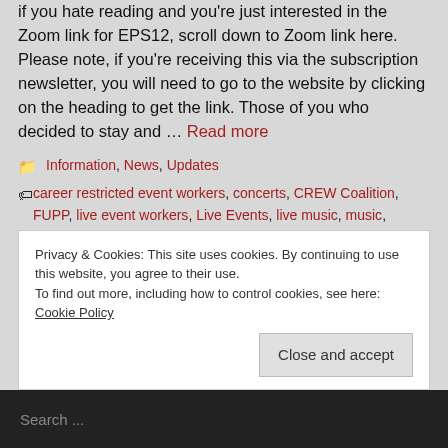if you hate reading and you're just interested in the Zoom link for EPS12, scroll down to Zoom link here. Please note, if you're receiving this via the subscription newsletter, you will need to go to the website by clicking on the heading to get the link. Those of you who decided to stay and … Read more
Categories: Information, News, Updates
Tags: career restricted event workers, concerts, CREW Coalition, FUPP, live event workers, Live Events, live music, music, sporting events, wemakeevents
Leave a comment
Privacy & Cookies: This site uses cookies. By continuing to use this website, you agree to their use. To find out more, including how to control cookies, see here: Cookie Policy
Close and accept
Search ...